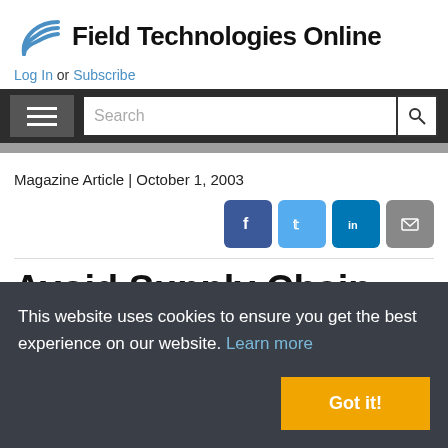[Figure (logo): Field Technologies Online logo with blue arc/wave icon and bold black text]
Log In or Subscribe
[Figure (screenshot): Dark navigation bar with hamburger menu icon on left and search bar with search button on right]
Magazine Article | October 1, 2003
[Figure (infographic): Social sharing buttons: Facebook (blue), Twitter (light blue), LinkedIn (dark blue), Email (gray)]
Avoid Supply Chain Disconnect
This website uses cookies to ensure you get the best experience on our website. Learn more
Got it!